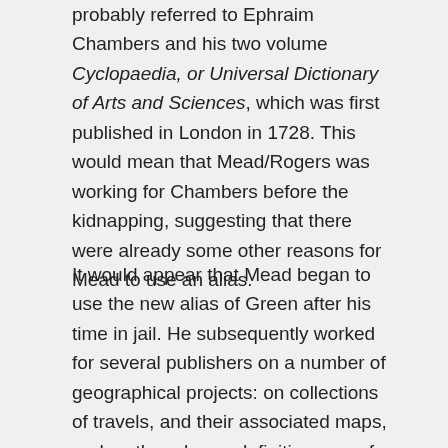probably referred to Ephraim Chambers and his two volume Cyclopaedia, or Universal Dictionary of Arts and Sciences, which was first published in London in 1728. This would mean that Mead/Rogers was working for Chambers before the kidnapping, suggesting that there were already some other reasons for Mead to use an alias.
It would appear that Mead began to use the new alias of Green after his time in jail. He subsequently worked for several publishers on a number of geographical projects: on collections of travels, and their associated maps, and on three large, definitive maps for Thomas Jefferys. He eventually committed suicide, by leaping out of a third-storey window, 1757.